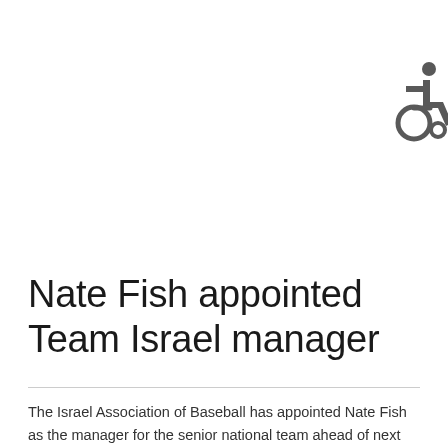[Figure (illustration): Wheelchair accessibility icon in dark gray, positioned in upper right corner of page]
Nate Fish appointed Team Israel manager
The Israel Association of Baseball has appointed Nate Fish as the manager for the senior national team ahead of next month's CEB European Championships in Italy. Joining Fish